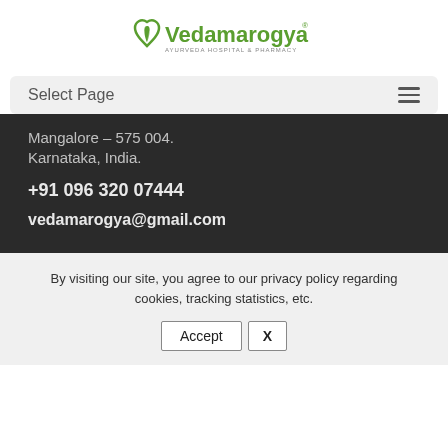[Figure (logo): Vedamarogya Ayurveda Hospital & Pharmacy logo with heart and leaf icon in green]
Select Page
Mangalore – 575 004.
Karnataka, India.
+91 096 320 07444
vedamarogya@gmail.com
By visiting our site, you agree to our privacy policy regarding cookies, tracking statistics, etc.